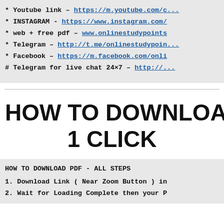* Youtube link – https://m.youtube.com/c...
* INSTAGRAM - https://www.instagram.com/...
* web + free pdf – www.onlinestudypoints...
* Telegram – http://t.me/onlinestudypoints...
* Facebook – https://m.facebook.com/onli...
# Telegram for live chat 24×7 – http://...
HOW TO DOWNLOAD PDF IN 1 CLICK
HOW TO DOWNLOAD PDF - ALL STEPS
1. Download Link ( Near Zoom Button ) in...
2. Wait for Loading Complete then your P...